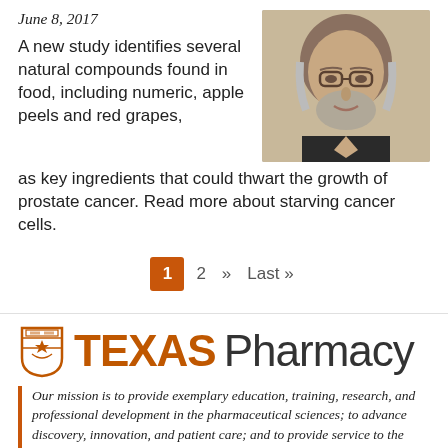June 8, 2017
[Figure (photo): Headshot photo of an older man with glasses and a grey beard, smiling]
A new study identifies several natural compounds found in food, including numeric, apple peels and red grapes, as key ingredients that could thwart the growth of prostate cancer. Read more about starving cancer cells.
1  2  »  Last »
[Figure (logo): UT Texas Pharmacy logo with longhorn shield icon]
Our mission is to provide exemplary education, training, research, and professional development in the pharmaceutical sciences; to advance discovery, innovation, and patient care; and to provide service to the citizens of and beyond...